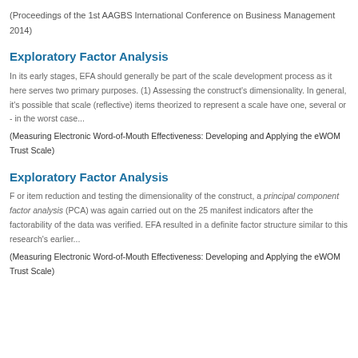(Proceedings of the 1st AAGBS International Conference on Business Management 2014)
Exploratory Factor Analysis
In its early stages, EFA should generally be part of the scale development process as it here serves two primary purposes. (1) Assessing the construct's dimensionality. In general, it's possible that scale (reflective) items theorized to represent a scale have one, several or - in the worst case...
(Measuring Electronic Word-of-Mouth Effectiveness: Developing and Applying the eWOM Trust Scale)
Exploratory Factor Analysis
F or item reduction and testing the dimensionality of the construct, a principal component factor analysis (PCA) was again carried out on the 25 manifest indicators after the factorability of the data was verified. EFA resulted in a definite factor structure similar to this research's earlier...
(Measuring Electronic Word-of-Mouth Effectiveness: Developing and Applying the eWOM Trust Scale)